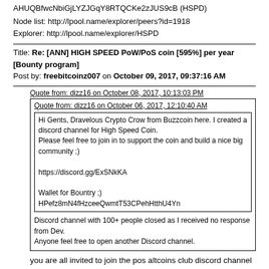AHUQBfwcNbiGjLYZJGqY8RTQCKe2zJUS9cB (HSPD)
Node list: http://lpool.name/explorer/peers?id=1918
Explorer: http://lpool.name/explorer/HSPD
Title: Re: [ANN] HIGH SPEED PoW/PoS coin [595%] per year [Bounty program]
Post by: freebitcoinz007 on October 09, 2017, 09:37:16 AM
Quote from: dizz16 on October 08, 2017, 10:13:03 PM
Quote from: dizz16 on October 06, 2017, 12:10:40 AM
Hi Gents, Dravelous Crypto Crow from Buzzcoin here. I created a discord channel for High Speed Coin.
Please feel free to join in to support the coin and build a nice big community ;)

https://discord.gg/ExSNkKA

Wallet for Bountry ;)
HPefz8mN4fHzceeQwmtT53CPehHtthU4Yn
Discord channel with 100+ people closed as I received no response from Dev.
Anyone feel free to open another Discord channel.
you are all invited to join the pos altcoins club discord channel (the link is in my signature), we chat there about almost any pos coin including high speed coin.
Title: Re: [ANN] HIGH SPEED PoW/PoS coin [595%] per year [Bounty program]